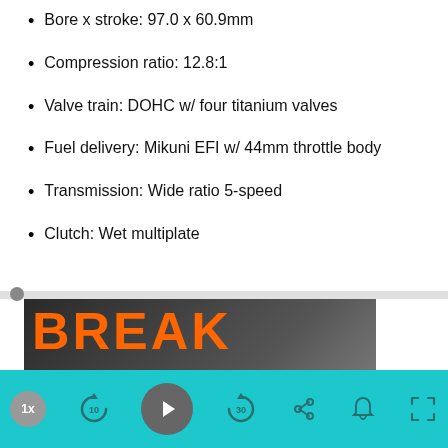Bore x stroke: 97.0 x 60.9mm
Compression ratio: 12.8:1
Valve train: DOHC w/ four titanium valves
Fuel delivery: Mikuni EFI w/ 44mm throttle body
Transmission: Wide ratio 5-speed
Clutch: Wet multiplate
[Figure (screenshot): Video thumbnail showing orange bold text 'BREAK LOOSE' on dark background with media player controls bar at bottom including speed button (1x), skip back 10s, play, skip forward 30s, share, bell, and fullscreen buttons on teal background.]